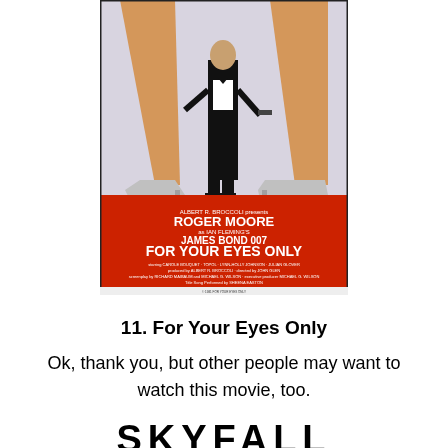[Figure (illustration): Movie poster for 'For Your Eyes Only' (James Bond 007) featuring Roger Moore in a tuxedo standing between two pairs of women's legs in high heels, on a red background with film credits.]
11. For Your Eyes Only
Ok, thank you, but other people may want to watch this movie, too.
SKYFALL